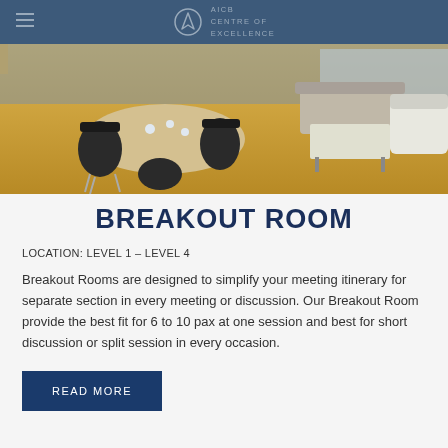AICB CENTRE OF EXCELLENCE
[Figure (photo): Interior photo of a breakout room with round table, black chairs, modern lounge seating, and warm orange carpet flooring]
BREAKOUT ROOM
LOCATION: LEVEL 1 – LEVEL 4
Breakout Rooms are designed to simplify your meeting itinerary for separate section in every meeting or discussion. Our Breakout Room provide the best fit for 6 to 10 pax at one session and best for short discussion or split session in every occasion.
READ MORE